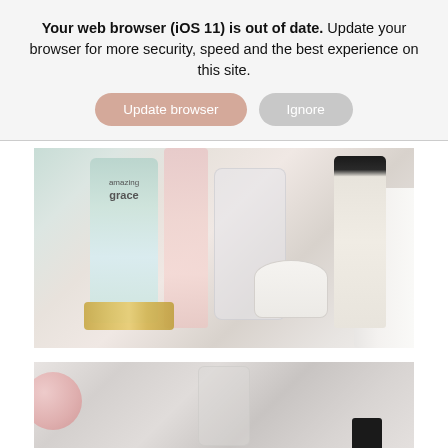Your web browser (iOS 11) is out of date. Update your browser for more security, speed and the best experience on this site.
Update browser
Ignore
[Figure (photo): Flatlay of Philosophy skincare products including Amazing Grace body wash, Amazing Grace perfume, pink tall bottle, cotton swabs in a glass jar, Purity cleanser, renewed hope cream jar, a gold watch, and a white towel on a light surface.]
[Figure (photo): Bottom portion of a second photo showing a blurry, light-toned flatlay with a pink round object on the left, a clear glass perfume bottle in the center, and a dark cap visible on the right edge.]